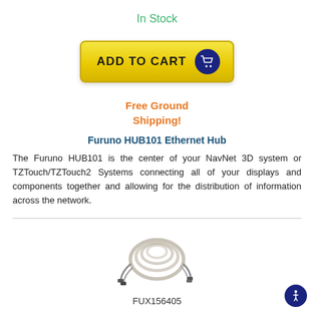In Stock
[Figure (other): Add to Cart button with yellow gradient background and dark navy shopping cart icon]
Free Ground Shipping!
Furuno HUB101 Ethernet Hub
The Furuno HUB101 is the center of your NavNet 3D system or TZTouch/TZTouch2 Systems connecting all of your displays and components together and allowing for the distribution of information across the network.
[Figure (photo): Coiled cable/wiring harness product image for FUX156405]
FUX156405